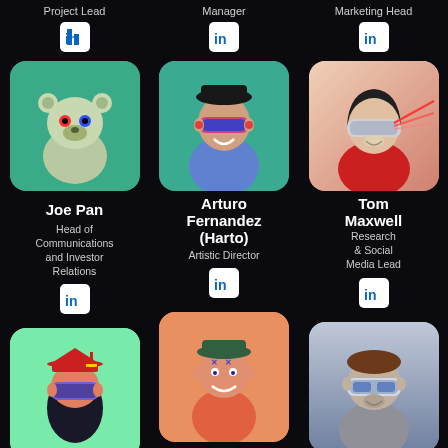Project Lead
[Figure (illustration): LinkedIn icon white on white rounded square]
[Figure (illustration): 3D avatar: bear-like creature with red and blue eyes on teal background]
Joe Pan
Head of Communications and Investor Relations
[Figure (illustration): LinkedIn icon]
Manager
[Figure (illustration): LinkedIn icon]
[Figure (illustration): 3D avatar: monkey with VR headset and bucket hat on teal background]
Arturo Fernandez (Harto)
Artistic Director
[Figure (illustration): LinkedIn icon]
Marketing Head
[Figure (illustration): LinkedIn icon]
[Figure (illustration): 3D avatar: robot-like figure with laser eyes on pink/peach background]
Tom Maxwell
Research & Social Media Lead
[Figure (illustration): LinkedIn icon]
[Figure (illustration): 3D avatar: monkey with graduation cap and VR headset on green background]
[Figure (illustration): 3D avatar: smiling monkey with green hat on orange/peach gradient background]
[Figure (illustration): 3D avatar: robot with headset on grey/purple background]